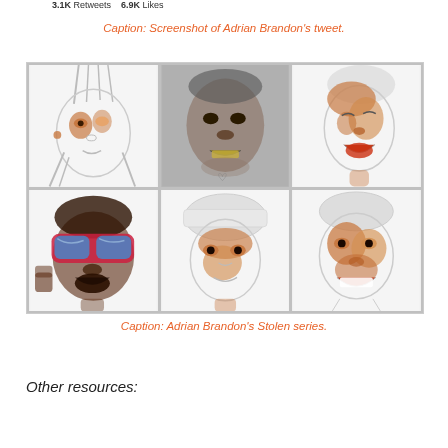3.1K Retweets   6.9K Likes
Caption: Screenshot of Adrian Brandon's tweet.
[Figure (illustration): Six portrait sketches from Adrian Brandon's Stolen series arranged in a 3x2 grid. Each portrait is a partially colored pencil sketch of a Black person's face, with selective warm skin tones applied to certain facial features against a white/light sketch background.]
Caption: Adrian Brandon's Stolen series.
Other resources: